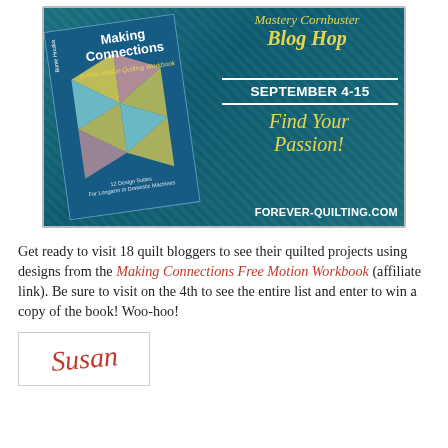[Figure (illustration): Mastery Cornbuster Blog Hop promotional banner for September 4-15, featuring the Making Connections Free-Motion Quilting Workbook book cover, with text 'Find Your Passion!' and 'FOREVER-QUILTING.COM']
Get ready to visit 18 quilt bloggers to see their quilted projects using designs from the Making Connections Free Motion Workbook (affiliate link). Be sure to visit on the 4th to see the entire list and enter to win a copy of the book! Woo-hoo!
[Figure (illustration): Susan signature in cursive red script inside a bordered box]